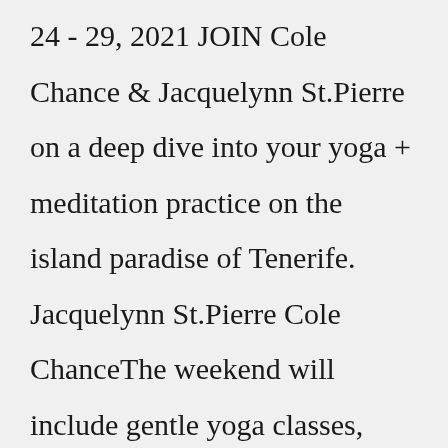24 - 29, 2021 JOIN Cole Chance & Jacquelynn St.Pierre on a deep dive into your yoga + meditation practice on the island paradise of Tenerife. Jacquelynn St.Pierre Cole ChanceThe weekend will include gentle yoga classes, yoga dance, as well as a yoga nidra meditation. Also check out the mindfulness meditation, devotional kirtan, nature walks and a sound healing and fire ceremony. All meals will be vegetarian. Rates start at $239. Where: 408